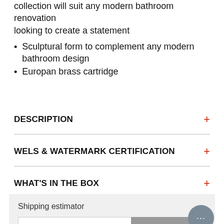collection will suit any modern bathroom renovation looking to create a statement
Sculptural form to complement any modern bathroom design
Europan brass cartridge
DESCRIPTION
WELS & WATERMARK CERTIFICATION
WHAT'S IN THE BOX
Shipping estimator
Postcode
Calculate shipp